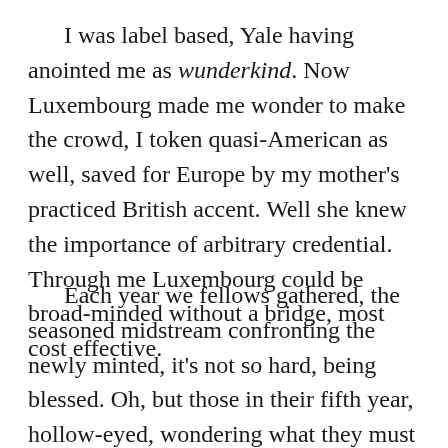I was label based, Yale having anointed me as wunderkind. Now Luxembourg made me wonder to make the crowd, I token quasi-American as well, saved for Europe by my mother's practiced British accent. Well she knew the importance of arbitrary credential. Through me Luxembourg could be broad-minded without a bridge, most cost effective.
Each year we fellows gathered, the seasoned midstream confronting the newly minted, it's not so hard, being blessed. Oh, but those in their fifth year, hollow-eyed, wondering what they must do next, if all